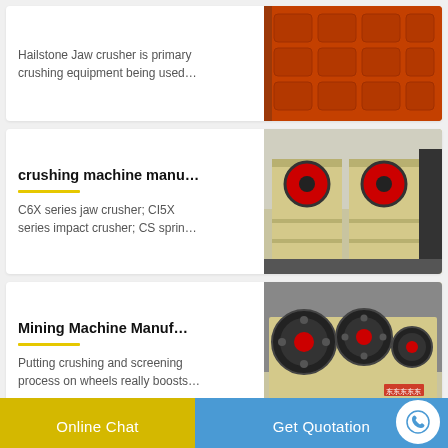Hailstone Jaw crusher is primary crushing equipment being used…
[Figure (photo): Orange/red jaw crusher equipment]
crushing machine manu…
C6X series jaw crusher; CI5X series impact crusher; CS sprin…
[Figure (photo): Beige/cream colored crushing machines in warehouse]
Mining Machine Manuf…
Putting crushing and screening process on wheels really boosts…
[Figure (photo): Yellow mining machines with large flywheels]
Online Chat
Get Quotation